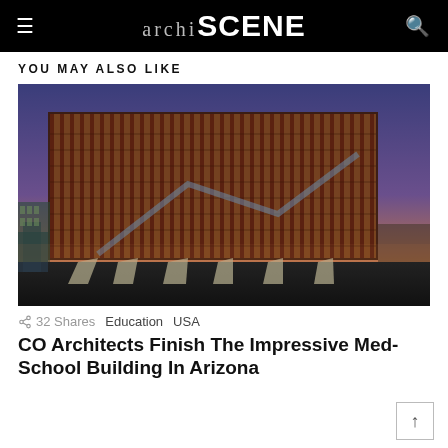archi SCENE
YOU MAY ALSO LIKE
[Figure (photo): Architectural photograph of a modern multi-story medical school building at dusk/twilight. The building features a distinctive facade of vertical red/copper fins or louvers covering floor-to-ceiling glazing. The structure appears elevated on angled concrete supports. The sky is purple-blue at dusk. The building is illuminated from within, showing warm light through the glass and fins.]
32 Shares   Education   USA
CO Architects Finish The Impressive Med-School Building In Arizona